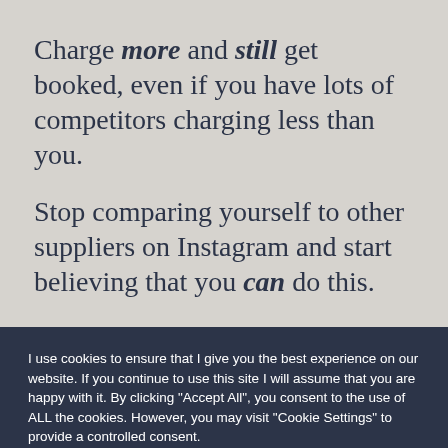Charge more and still get booked, even if you have lots of competitors charging less than you.
Stop comparing yourself to other suppliers on Instagram and start believing that you can do this.
I use cookies to ensure that I give you the best experience on our website. If you continue to use this site I will assume that you are happy with it. By clicking "Accept All", you consent to the use of ALL the cookies. However, you may visit "Cookie Settings" to provide a controlled consent.